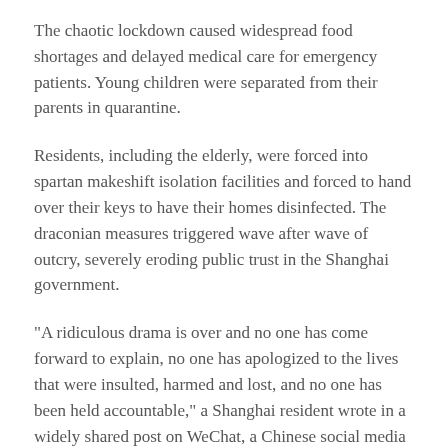The chaotic lockdown caused widespread food shortages and delayed medical care for emergency patients. Young children were separated from their parents in quarantine.
Residents, including the elderly, were forced into spartan makeshift isolation facilities and forced to hand over their keys to have their homes disinfected. The draconian measures triggered wave after wave of outcry, severely eroding public trust in the Shanghai government.
"A ridiculous drama is over and no one has come forward to explain, no one has apologized to the lives that were insulted, harmed and lost, and no one has been held accountable," a Shanghai resident wrote in a widely shared post on WeChat, a Chinese social media platform.
"The takeout is back, the crayfish is back, the beer is back, but the sense of security is gone," said the post, which was later